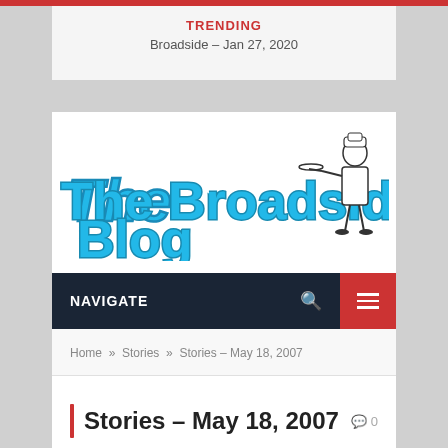TRENDING
Broadside – Jan 27, 2020
[Figure (logo): The Broadside Blog logo with blue bubble-text and a cartoon figure of a waiter/chef on the right]
NAVIGATE
Home » Stories » Stories – May 18, 2007
Stories – May 18, 2007